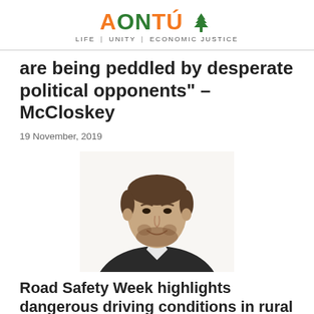AONTÚ | LIFE | UNITY | ECONOMIC JUSTICE
are being peddled by desperate political opponents" – McCloskey
19 November, 2019
[Figure (photo): Headshot portrait of a young man with short brown hair and beard, wearing a dark jacket and white shirt, smiling, white background.]
Road Safety Week highlights dangerous driving conditions in rural